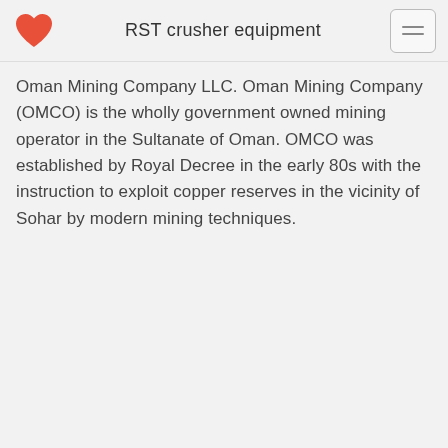RST crusher equipment
Oman Mining Company LLC. Oman Mining Company (OMCO) is the wholly government owned mining operator in the Sultanate of Oman. OMCO was established by Royal Decree in the early 80s with the instruction to exploit copper reserves in the vicinity of Sohar by modern mining techniques.